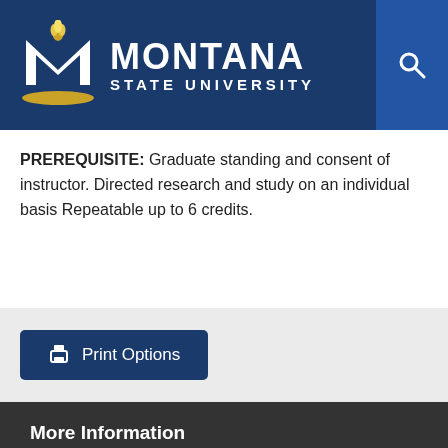[Figure (logo): Montana State University logo with torch and M lettermark on dark blue header background with search icon]
PREREQUISITE: Graduate standing and consent of instructor. Directed research and study on an individual basis Repeatable up to 6 credits.
Print Options
More Information
Admissions
Current Students
Faculty & Staff
Parents & Family